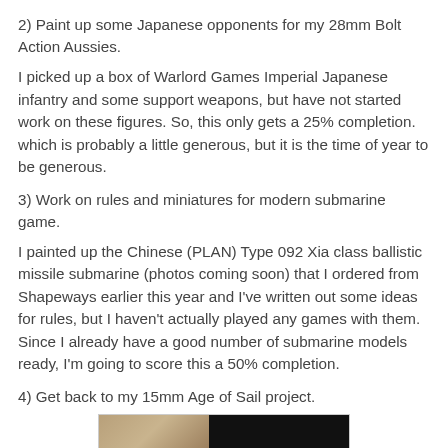2) Paint up some Japanese opponents for my 28mm Bolt Action Aussies.
I picked up a box of Warlord Games Imperial Japanese infantry and some support weapons, but have not started work on these figures. So, this only gets a 25% completion. which is probably a little generous, but it is the time of year to be generous.
3) Work on rules and miniatures for modern submarine game.
I painted up the Chinese (PLAN) Type 092 Xia class ballistic missile submarine (photos coming soon) that I ordered from Shapeways earlier this year and I've written out some ideas for rules, but I haven't actually played any games with them. Since I already have a good number of submarine models ready, I'm going to score this a 50% completion.
4) Get back to my 15mm Age of Sail project.
[Figure (photo): Partial view of what appears to be a figure or miniature photograph, showing a sepia/brown toned image on the left and a dark/black image on the right.]